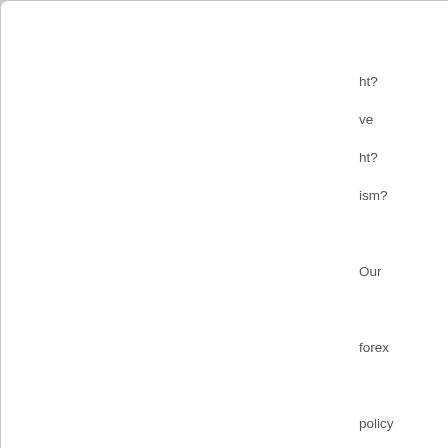ht? ve ht? ism? Our forexg policy arfe ck. Also, war?
[Figure (illustration): Flag of Cocos (Keeling) Islands - green background with yellow sun/palm circle on left and yellow crescent moon with stars on right]
Caluscaria
Attaché
Posts: 98
Founded: Oct 18, 2020
Inoffensive Centrist Democracy
QUOTE
by Caluscaria
» Sat Nov 28, 2020 1:52 pm
"Yo kno tha ho